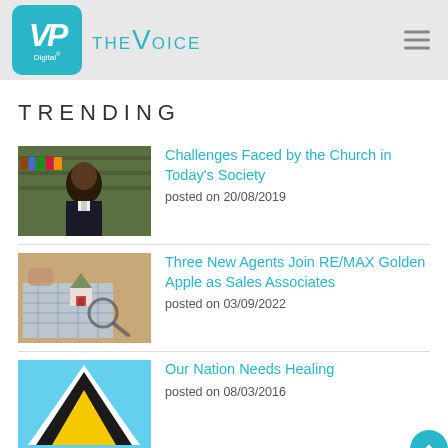VP Digital - The Voice
TRENDING
[Figure (photo): Portrait photo of a man in suit and clerical collar, bookshelves in background]
Challenges Faced by the Church in Today's Society
posted on 20/08/2019
[Figure (photo): Model house on architectural blueprints with magnifying glass]
Three New Agents Join RE/MAX Golden Apple as Sales Associates
posted on 03/09/2022
[Figure (photo): Saint Lucia national flag on light blue background]
Our Nation Needs Healing
posted on 08/03/2016